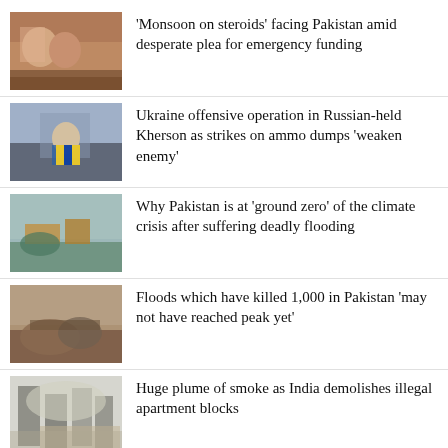‘Monsoon on steroids’ facing Pakistan amid desperate plea for emergency funding
Ukraine offensive operation in Russian-held Kherson as strikes on ammo dumps ‘weaken enemy’
Why Pakistan is at ‘ground zero’ of the climate crisis after suffering deadly flooding
Floods which have killed 1,000 in Pakistan ‘may not have reached peak yet’
Huge plume of smoke as India demolishes illegal apartment blocks